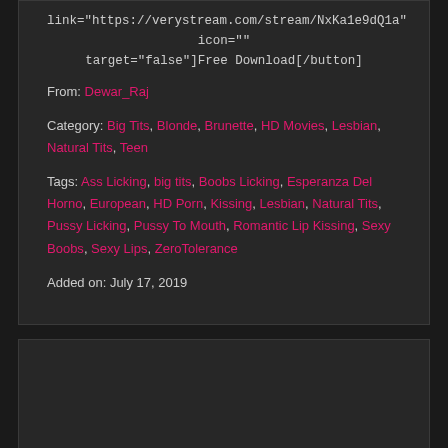link="https://verystream.com/stream/NxKa1e9dQ1a" icon="" target="false"]Free Download[/button]
From: Dewar_Raj
Category: Big Tits, Blonde, Brunette, HD Movies, Lesbian, Natural Tits, Teen
Tags: Ass Licking, big tits, Boobs Licking, Esperanza Del Horno, European, HD Porn, Kissing, Lesbian, Natural Tits, Pussy Licking, Pussy To Mouth, Romantic Lip Kissing, Sexy Boobs, Sexy Lips, ZeroTolerance
Added on: July 17, 2019
[Figure (other): Empty dark box section at bottom of page]